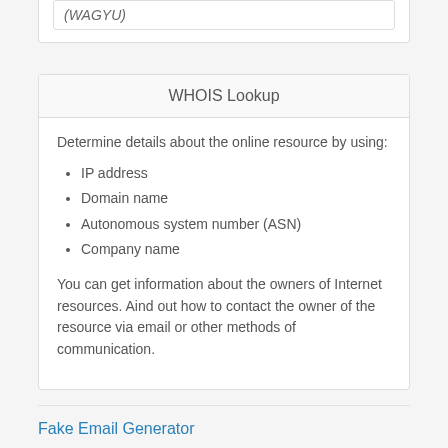(WAGYU)
WHOIS Lookup
Determine details about the online resource by using:
IP address
Domain name
Autonomous system number (ASN)
Company name
You can get information about the owners of Internet resources. Aind out how to contact the owner of the resource via email or other methods of communication.
Fake Email Generator